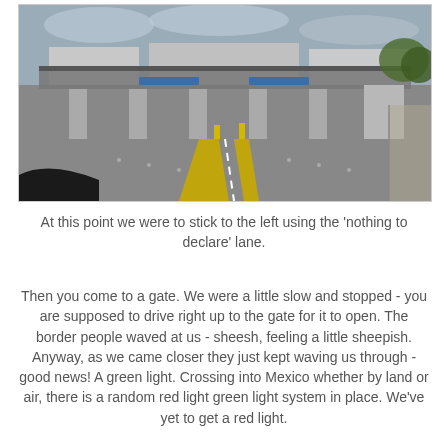[Figure (photo): A border crossing checkpoint with multiple lanes and toll-booth style structures. The road surface is wide concrete/asphalt with yellow lane markings. Buildings and canopies are visible in the background under an overcast sky.]
At this point we were to stick to the left using the 'nothing to declare' lane.
Then you come to a gate. We were a little slow and stopped - you are supposed to drive right up to the gate for it to open. The border people waved at us - sheesh, feeling a little sheepish. Anyway, as we came closer they just kept waving us through - good news! A green light. Crossing into Mexico whether by land or air, there is a random red light green light system in place. We've yet to get a red light.